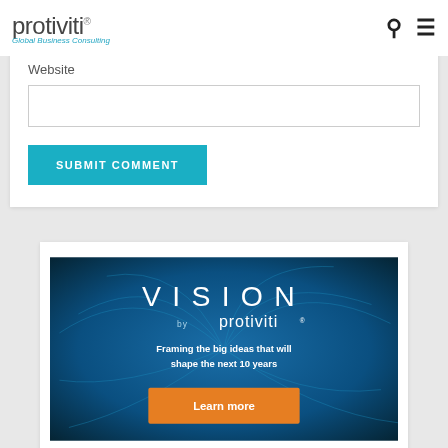protiviti® Global Business Consulting
Website
[Figure (other): Empty text input box for website URL]
SUBMIT COMMENT
[Figure (illustration): VISION by protiviti advertisement banner with blue swirl background. Text reads: VISION by protiviti — Framing the big ideas that will shape the next 10 years. Orange button: Learn more]